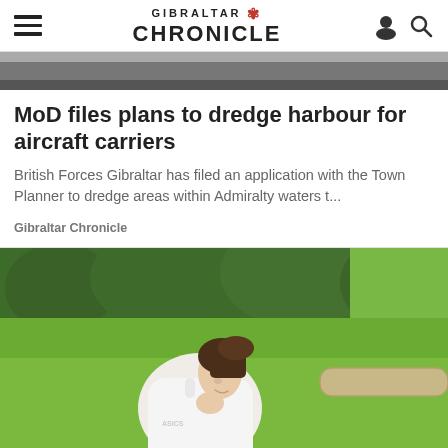GIBRALTAR CHRONICLE
[Figure (photo): Partial view of a dark header image/thumbnail strip]
MoD files plans to dredge harbour for aircraft carriers
British Forces Gibraltar has filed an application with the Town Planner to dredge areas within Admiralty waters t...
Gibraltar Chronicle
[Figure (photo): Young woman in a white ASICS athletic top leaning forward with her hand near her face, outdoors on green grass with trees in the background]